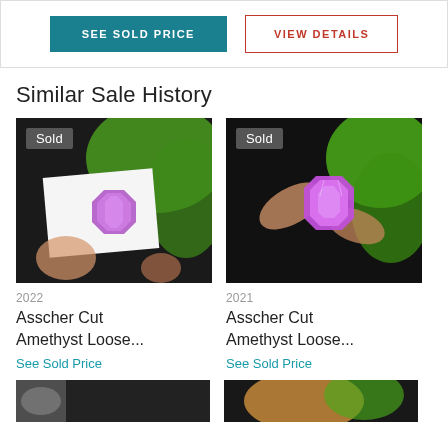[Figure (screenshot): Two buttons: 'SEE SOLD PRICE' (teal filled) and 'VIEW DETAILS' (red outlined)]
Similar Sale History
[Figure (photo): Photo of Asscher Cut Amethyst loose gemstone with 'Sold' badge, 2022]
[Figure (photo): Photo of Asscher Cut Amethyst loose gemstone with 'Sold' badge, 2021]
2022
2021
Asscher Cut Amethyst Loose...
Asscher Cut Amethyst Loose...
See Sold Price
See Sold Price
[Figure (photo): Partial photo at bottom left (cut off)]
[Figure (photo): Partial photo at bottom right (cut off)]